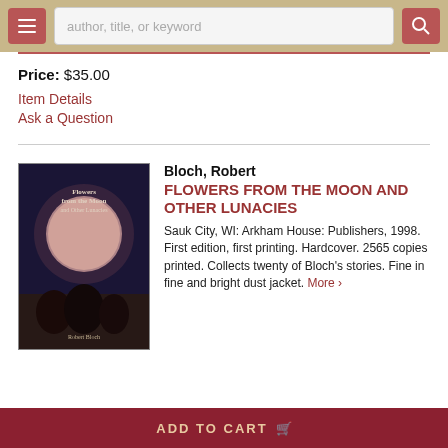author, title, or keyword
Price: $35.00
Item Details
Ask a Question
[Figure (photo): Book cover of 'Flowers from the Moon and Other Lunacies' by Robert Bloch, dark blue/purple background with a large moon and fantasy creatures]
Bloch, Robert
FLOWERS FROM THE MOON AND OTHER LUNACIES
Sauk City, WI: Arkham House: Publishers, 1998. First edition, first printing. Hardcover. 2565 copies printed. Collects twenty of Bloch's stories. Fine in fine and bright dust jacket. More >
ADD TO CART